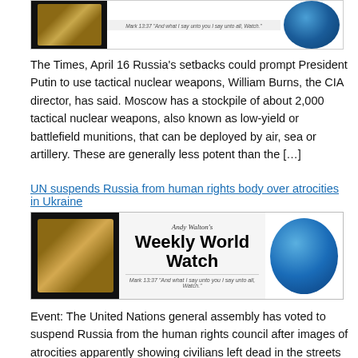[Figure (illustration): Partial banner for Andy Walton's Weekly World Watch showing a Bible on black background on the left, centered title area on grey background, and a globe on the right. Tagline: Mark 13:37 'And what I say unto you I say unto all, Watch.']
The Times, April 16 Russia's setbacks could prompt President Putin to use tactical nuclear weapons, William Burns, the CIA director, has said. Moscow has a stockpile of about 2,000 tactical nuclear weapons, also known as low-yield or battlefield munitions, that can be deployed by air, sea or artillery. These are generally less potent than the […]
UN suspends Russia from human rights body over atrocities in Ukraine
[Figure (illustration): Full banner for Andy Walton's Weekly World Watch. Left: open Bible on black background. Center: 'Andy Walton's' in italic above 'Weekly World Watch' in large bold black text on grey, with tagline Mark 13:37 'And what I say unto you I say unto all, Watch.' Right: globe image.]
Event: The United Nations general assembly has voted to suspend Russia from the human rights council after images of atrocities apparently showing civilians left dead in the streets with their hands bound emerged following Russian troops' withdrawal from around Kyiv. The call for Russia's removal from the UN's top human rights body was led by […]